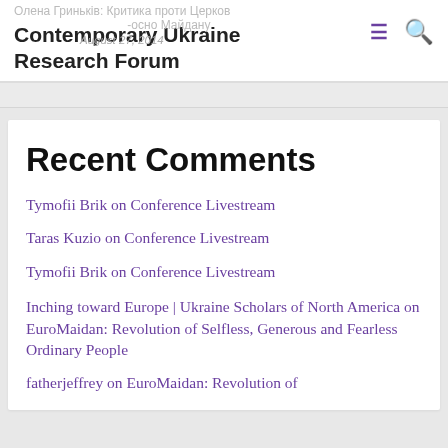Contemporary Ukraine Research Forum
Recent Comments
Tymofii Brik on Conference Livestream
Taras Kuzio on Conference Livestream
Tymofii Brik on Conference Livestream
Inching toward Europe | Ukraine Scholars of North America on EuroMaidan: Revolution of Selfless, Generous and Fearless Ordinary People
fatherjeffrey on EuroMaidan: Revolution of